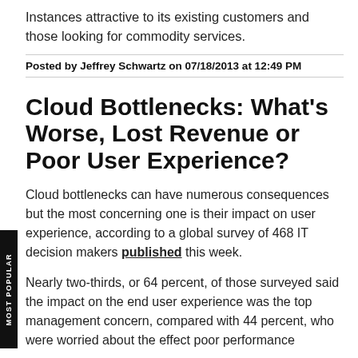Instances attractive to its existing customers and those looking for commodity services.
Posted by Jeffrey Schwartz on 07/18/2013 at 12:49 PM
Cloud Bottlenecks: What's Worse, Lost Revenue or Poor User Experience?
Cloud bottlenecks can have numerous consequences but the most concerning one is their impact on user experience, according to a global survey of 468 IT decision makers published this week.
Nearly two-thirds, or 64 percent, of those surveyed said the impact on the end user experience was the top management concern, compared with 44 percent, who were worried about the effect poor performance